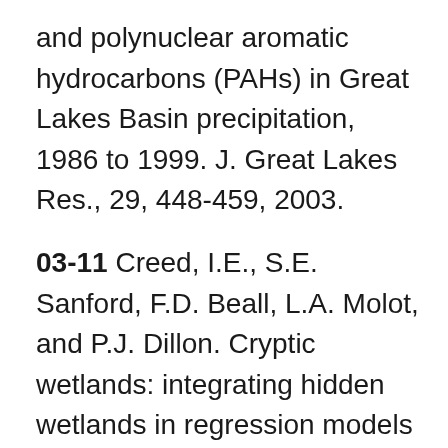and polynuclear aromatic hydrocarbons (PAHs) in Great Lakes Basin precipitation, 1986 to 1999. J. Great Lakes Res., 29, 448-459, 2003.
03-11 Creed, I.E., S.E. Sanford, F.D. Beall, L.A. Molot, and P.J. Dillon. Cryptic wetlands: integrating hidden wetlands in regression models of the export of dissolved organic carbon from forested landscapes. Hydrological Processes 17, 3629-3648, 2003.
03-12 Monteith, S.S. Hydrologic response to clearcutting in a hardwood forest during snowmelt. MSc. Thesis, Watershed